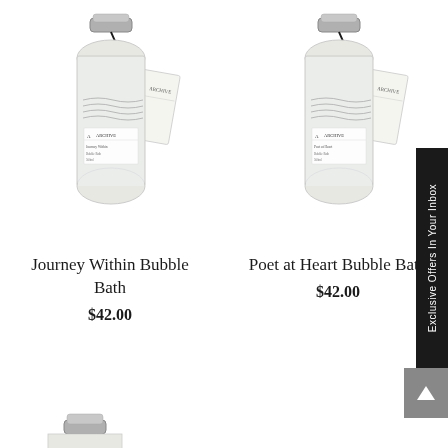[Figure (photo): Clear glass bottle of Journey Within Bubble Bath with silver cap, black string, and hanging tag, Archive brand label]
Journey Within Bubble Bath
$42.00
[Figure (photo): Clear glass bottle of Poet at Heart Bubble Bath with silver cap, black string, and hanging tag, Archive brand label]
Poet at Heart Bubble Bath
$42.00
Exclusive Offers In Your Inbox